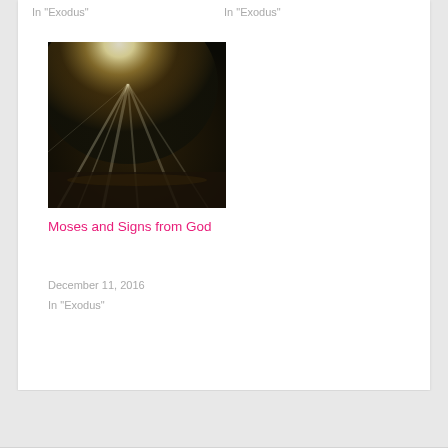In "Exodus"
In "Exodus"
[Figure (photo): Photo of sunlight rays shining through trees onto water, dark moody nature scene]
Moses and Signs from God
December 11, 2016
In "Exodus"
EXODUS
« JESUS EQUAL WORK MEME
JESUS TELLS ABOUT HIS DEATH THE THIRD TIME »